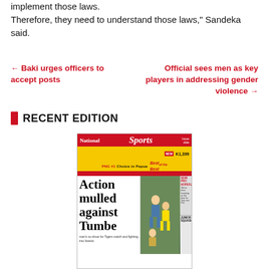implement those laws.
Therefore, they need to understand those laws," Sandeka said.
← Baki urges officers to accept posts
Official sees men as key players in addressing gender violence →
RECENT EDITION
[Figure (photo): Front page of National Sports newspaper showing headline 'Action mulled against Tumbe' with rugby action photo and side panels including SEMI PRO HOPEFUL and JUNIOR SQUASH sections.]